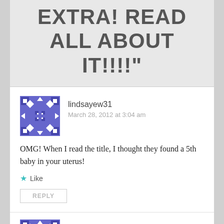EXTRA! READ ALL ABOUT IT!!!!"
lindsayew31
March 28, 2012 at 3:04 am
OMG! When I read the title, I thought they found a 5th baby in your uterus!
Like
REPLY
lindsayew31